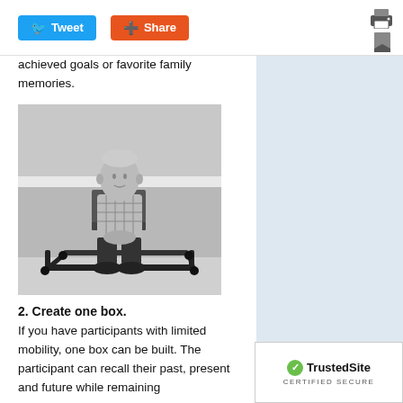Tweet  Share
achieved goals or favorite family memories.
[Figure (photo): Black and white photograph of an elderly man sitting on a chair that is placed inside a square frame made of thick black pipes/tubes on the floor.]
2. Create one box.
If you have participants with limited mobility, one box can be built. The participant can recall their past, present and future while remaining